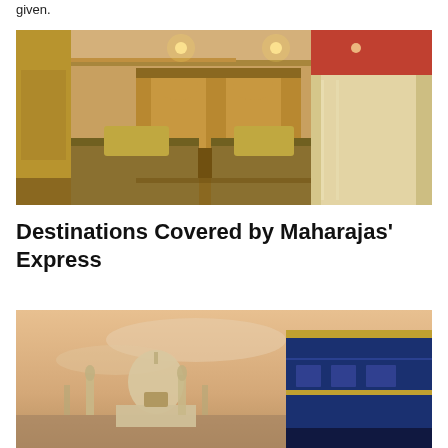given.
[Figure (photo): Interior of a luxurious train cabin on the Maharajas' Express, showing two twin beds with golden/brown embroidered bedspreads and matching cushions, ornate wooden paneling with Mughal arch motifs, warm ceiling lighting, and red-curtained windows with sheer drapes.]
Destinations Covered by Maharajas' Express
[Figure (photo): Exterior shot of the Maharajas' Express train (blue carriages) with the Taj Mahal visible in the background against a warm sunset sky.]